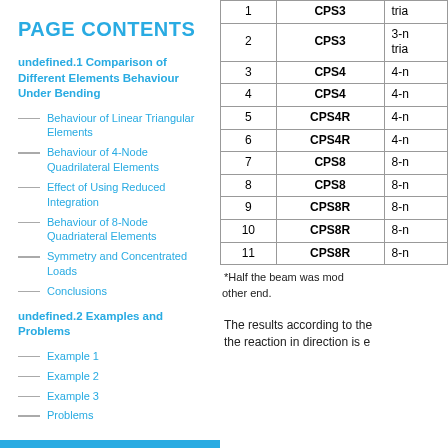PAGE CONTENTS
undefined.1 Comparison of Different Elements Behaviour Under Bending
Behaviour of Linear Triangular Elements
Behaviour of 4-Node Quadrilateral Elements
Effect of Using Reduced Integration
Behaviour of 8-Node Quadriateral Elements
Symmetry and Concentrated Loads
Conclusions
undefined.2 Examples and Problems
Example 1
Example 2
Example 3
Problems
Page Comments
|  | Element Type | Description |
| --- | --- | --- |
| 1 | CPS3 | tria... |
| 2 | CPS3 | 3-n... tria... |
| 3 | CPS4 | 4-n... |
| 4 | CPS4 | 4-n... |
| 5 | CPS4R | 4-n... |
| 6 | CPS4R | 4-n... |
| 7 | CPS8 | 8-n... |
| 8 | CPS8 | 8-n... |
| 9 | CPS8R | 8-n... |
| 10 | CPS8R | 8-n... |
| 11 | CPS8R | 8-n... |
*Half the beam was mod... other end.
The results according to the reaction in direction is e...